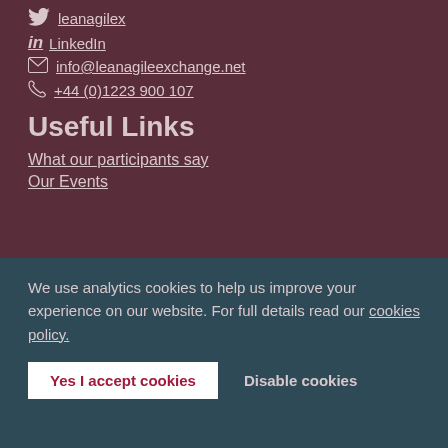leanagilex
LinkedIn
info@leanagileexchange.net
+44 (0)1223 900 107
Useful Links
What our participants say
Our Events
We use analytics cookies to help us improve your experience on our website. For full details read our cookies policy.
Yes I accept cookies
Disable cookies